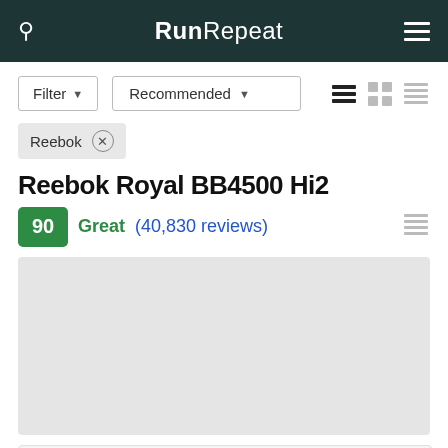RunRepeat
Filter   Recommended
Reebok ×
Reebok Royal BB4500 Hi2
90  Great (40,830 reviews)
[Figure (photo): Product image placeholder (light gray rectangle) for Reebok Royal BB4500 Hi2 shoe]
[Figure (photo): Bottom card stub placeholder]